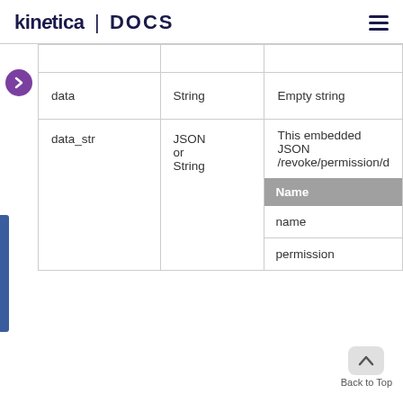kinetica | DOCS
|  |  |  |
| --- | --- | --- |
| data | String | Empty string |
| data_str | JSON or String | This embedded JSON /revoke/permission/d
Name
name
permission |